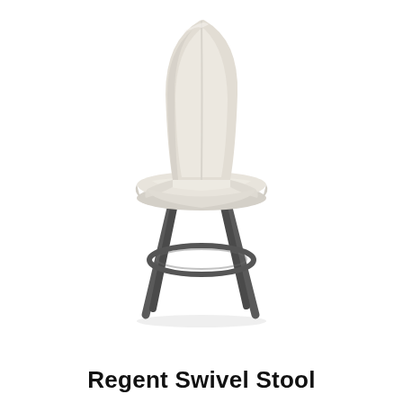[Figure (photo): Product photo of a Regent Swivel Stool featuring a white/cream upholstered seat and back with a curved modern silhouette, supported by four dark grey metal legs with a circular footrest ring.]
Regent Swivel Stool